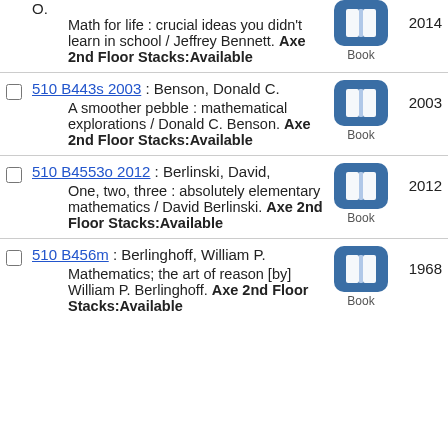O.
Math for life : crucial ideas you didn't learn in school / Jeffrey Bennett. Axe 2nd Floor Stacks:Available 2014
510 B443s 2003 : Benson, Donald C.
A smoother pebble : mathematical explorations / Donald C. Benson. Axe 2nd Floor Stacks:Available 2003
510 B4553o 2012 : Berlinski, David,
One, two, three : absolutely elementary mathematics / David Berlinski. Axe 2nd Floor Stacks:Available 2012
510 B456m : Berlinghoff, William P.
Mathematics; the art of reason [by] William P. Berlinghoff. Axe 2nd Floor Stacks:Available 1968